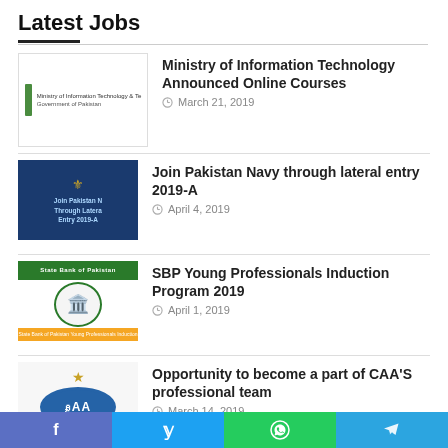Latest Jobs
Ministry of Information Technology Announced Online Courses — March 21, 2019
Join Pakistan Navy through lateral entry 2019-A — April 4, 2019
SBP Young Professionals Induction Program 2019 — April 1, 2019
Opportunity to become a part of CAA'S professional team — March 14, 2019
f   y   WhatsApp   Telegram